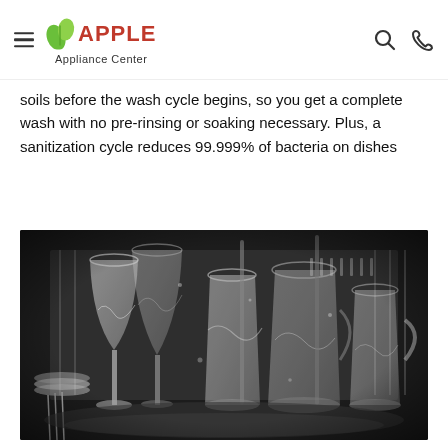Apple Appliance Center
soils before the wash cycle begins, so you get a complete wash with no pre-rinsing or soaking necessary. Plus, a sanitization cycle reduces 99.999% of bacteria on dishes
[Figure (photo): Black and white photo of the inside of a dishwasher filled with glasses, stemware, and dishes being washed with water.]